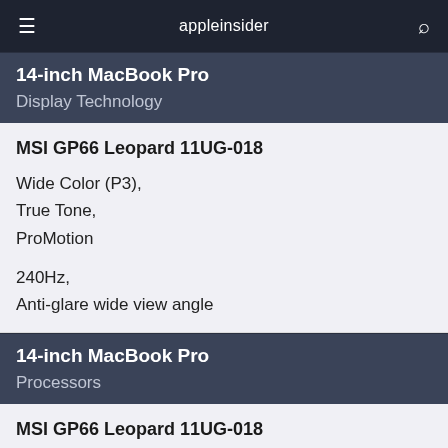appleinsider
14-inch MacBook Pro
Display Technology
MSI GP66 Leopard 11UG-018
Wide Color (P3),
True Tone,
ProMotion

240Hz,
Anti-glare wide view angle
14-inch MacBook Pro
Processors
MSI GP66 Leopard 11UG-018
M1 Pro with 8-core CPU